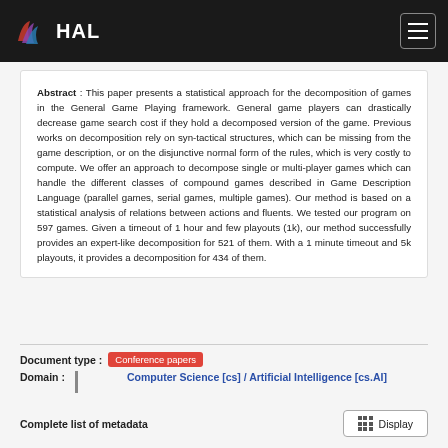HAL
Abstract : This paper presents a statistical approach for the decomposition of games in the General Game Playing framework. General game players can drastically decrease game search cost if they hold a decomposed version of the game. Previous works on decomposition rely on syn-tactical structures, which can be missing from the game description, or on the disjunctive normal form of the rules, which is very costly to compute. We offer an approach to decompose single or multi-player games which can handle the different classes of compound games described in Game Description Language (parallel games, serial games, multiple games). Our method is based on a statistical analysis of relations between actions and fluents. We tested our program on 597 games. Given a timeout of 1 hour and few playouts (1k), our method successfully provides an expert-like decomposition for 521 of them. With a 1 minute timeout and 5k playouts, it provides a decomposition for 434 of them.
Document type : Conference papers
Domain : Computer Science [cs] / Artificial Intelligence [cs.AI]
Complete list of metadata  Display